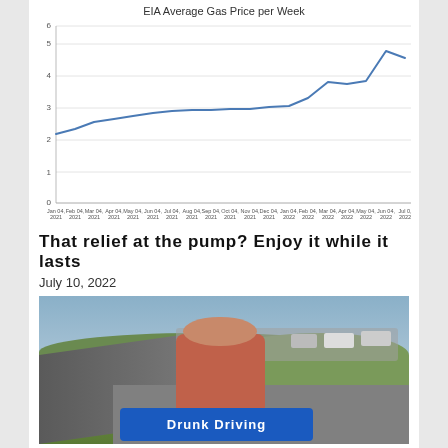[Figure (line-chart): EIA Average Gas Price per Week]
That relief at the pump? Enjoy it while it lasts
July 10, 2022
[Figure (photo): A woman stands in front of a highway with traffic. She is holding or standing near a blue Drunk Driving sign. Green hills and overpass visible in background.]